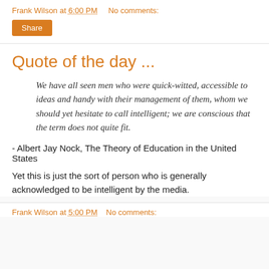Frank Wilson at 6:00 PM   No comments:
Share
Quote of the day ...
We have all seen men who were quick-witted, accessible to ideas and handy with their management of them, whom we should yet hesitate to call intelligent; we are conscious that the term does not quite fit.
- Albert Jay Nock, The Theory of Education in the United States
Yet this is just the sort of person who is generally acknowledged to be intelligent by the media.
Frank Wilson at 5:00 PM   No comments: